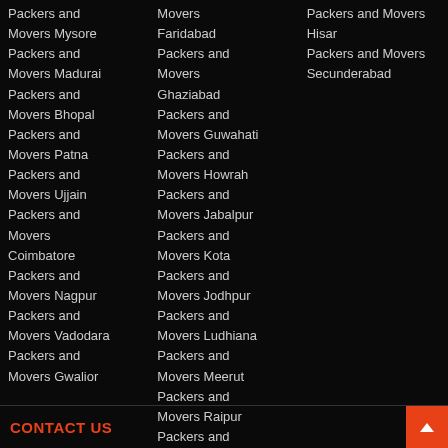Packers and Movers Mysore
Packers and Movers Madurai
Packers and Movers Bhopal
Packers and Movers Patna
Packers and Movers Ujjain
Packers and Movers Coimbatore
Packers and Movers Nagpur
Packers and Movers Vadodara
Packers and Movers Gwalior
Movers Faridabad
Packers and Movers Ghaziabad
Packers and Movers Guwahati
Packers and Movers Howrah
Packers and Movers Jabalpur
Packers and Movers Kota
Packers and Movers Jodhpur
Packers and Movers Ludhiana
Packers and Movers Meerut
Packers and Movers Raipur
Packers and Movers Rajkot
Packers and Movers Hisar
Packers and Movers Secunderabad
CONTACT US